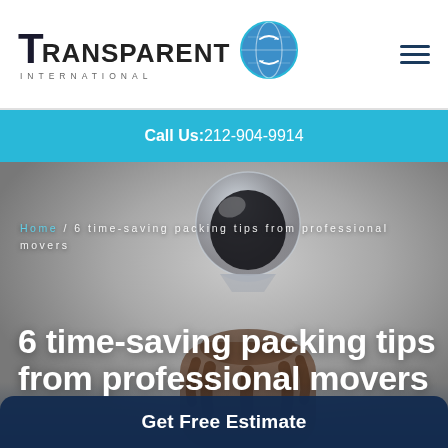[Figure (logo): Transparent International logo with globe icon]
Call Us: 212-904-9914
[Figure (photo): A hand holding a glass hourglass against a grey background, serving as the hero image for the blog post]
Home / 6 time-saving packing tips from professional movers
6 time-saving packing tips from professional movers
Get Free Estimate